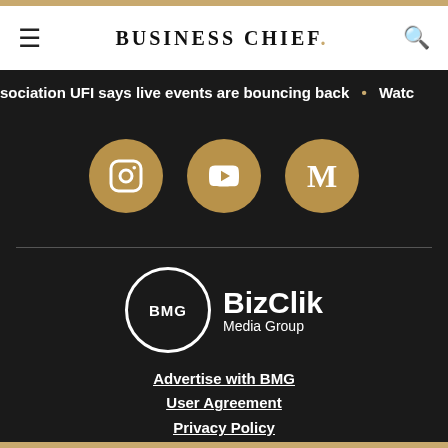BUSINESS CHIEF.
sociation UFI says live events are bouncing back • Watc
[Figure (illustration): Three gold circular social media icons: Instagram, YouTube, and Medium (M)]
[Figure (logo): BMG BizClik Media Group logo — white circle with BMG text and BizClik Media Group wordmark]
Advertise with BMG
User Agreement
Privacy Policy